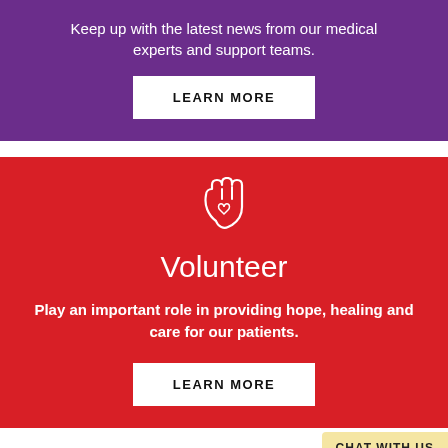Keep up with the latest news from our medical experts and support teams.
LEARN MORE
[Figure (illustration): White outline icon of a hand with a heart on the palm, on red background]
Volunteer
Play an important role in providing hope, healing and care for our patients.
LEARN MORE
CHAT WITH US